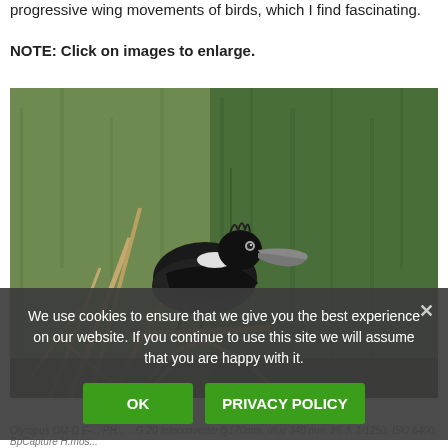progressive wing movements of birds, which I find fascinating.
NOTE: Click on images to enlarge.
[Figure (photo): A black hornbill bird perched on dry branches against a green mossy wall background.]
We use cookies to ensure that we give you the best experience on our website. If you continue to use this site we will assume that you are happy with it.
Olympus OM-D E-... PH... ...G 20 teleconverter@170mm, dfov 340 mm, f/6.3, 1/1250, ISO 6400, BpCapture H.mos...